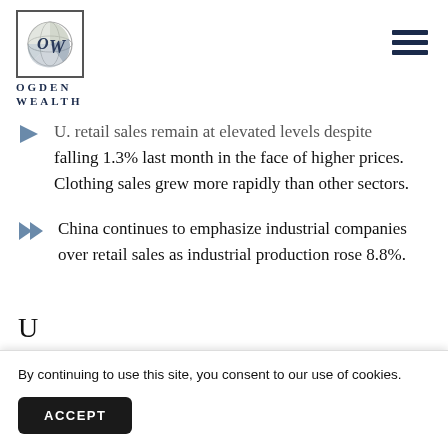[Figure (logo): Ogden Wealth logo: circular globe icon inside a square border, with text OGDEN WEALTH below]
U. retail sales remain at elevated levels despite falling 1.3% last month in the face of higher prices. Clothing sales grew more rapidly than other sectors.
China continues to emphasize industrial companies over retail sales as industrial production rose 8.8%.
By continuing to use this site, you consent to our use of cookies.
ACCEPT